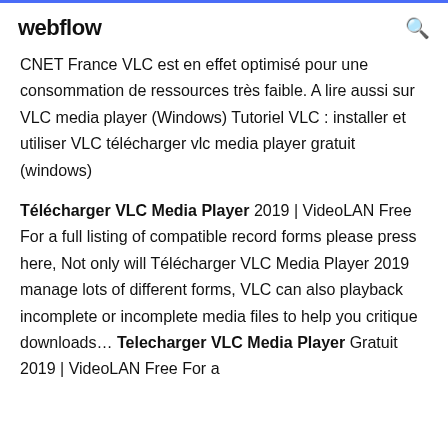webflow
CNET France VLC est en effet optimisé pour une consommation de ressources très faible. A lire aussi sur VLC media player (Windows) Tutoriel VLC : installer et utiliser VLC télécharger vlc media player gratuit (windows)
Télécharger VLC Media Player 2019 | VideoLAN Free For a full listing of compatible record forms please press here, Not only will Télécharger VLC Media Player 2019 manage lots of different forms, VLC can also playback incomplete or incomplete media files to help you critique downloads... Telecharger VLC Media Player Gratuit 2019 | VideoLAN Free For a